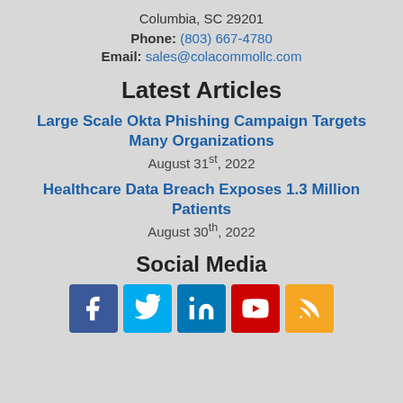Columbia, SC 29201
Phone: (803) 667-4780
Email: sales@colacommollc.com
Latest Articles
Large Scale Okta Phishing Campaign Targets Many Organizations
August 31st, 2022
Healthcare Data Breach Exposes 1.3 Million Patients
August 30th, 2022
Social Media
[Figure (infographic): Social media icons: Facebook, Twitter, LinkedIn, YouTube, RSS]